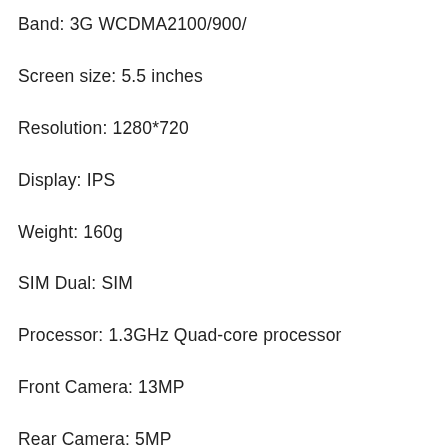Band: 3G WCDMA2100/900/
Screen size: 5.5 inches
Resolution: 1280*720
Display: IPS
Weight: 160g
SIM Dual: SIM
Processor: 1.3GHz Quad-core processor
Front Camera: 13MP
Rear Camera: 5MP